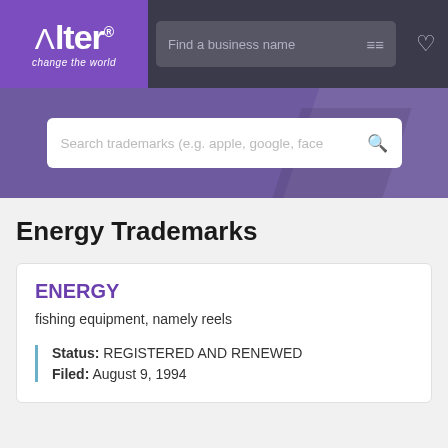[Figure (logo): Alter logo with tagline 'change the world' on purple background]
Energy Trademarks
ENERGY
fishing equipment, namely reels
Status: REGISTERED AND RENEWED
Filed: August 9, 1994